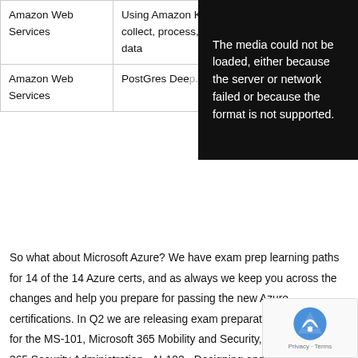| Provider | Course/Topic |
| --- | --- |
| Amazon Web Services | Using Amazon Kinesis to collect, process, & analyze data |
| Amazon Web Services | PostGres Dee... |
[Figure (screenshot): Media error overlay: 'The media could not be loaded, either because the server or network failed or because the format is not supported.']
So what about Microsoft Azure? We have exam prep learning paths for 14 of the 14 Azure certs, and as always we keep you across the changes and help you prepare for passing the new Azure certifications. In Q2 we are releasing exam preparation learning paths for the MS-101, Microsoft 365 Mobility and Security, MS-500 Microsoft 365 Security Administration, AI-102 - Designing and Implementing a Microsoft Azure AI Solution and AZ-120 Planning and Administering Microsoft Azure for SAP Workloads.